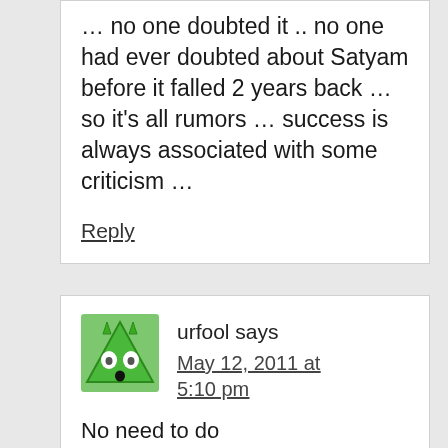… no one doubted it .. no one had ever doubted about Satyam before it falled 2 years back … so it's all rumors … success is always associated with some criticism …
Reply
urfool says
May 12, 2011 at 5:10 pm
No need to do